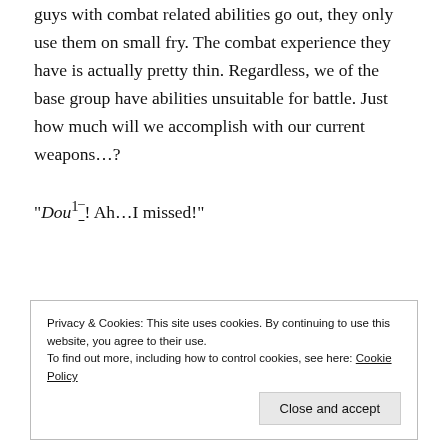guys with combat related abilities go out, they only use them on small fry. The combat experience they have is actually pretty thin. Regardless, we of the base group have abilities unsuitable for battle. Just how much will we accomplish with our current weapons…?
“Dou¹̅! Ah…I missed!”
Privacy & Cookies: This site uses cookies. By continuing to use this website, you agree to their use.
To find out more, including how to control cookies, see here: Cookie Policy
Close and accept